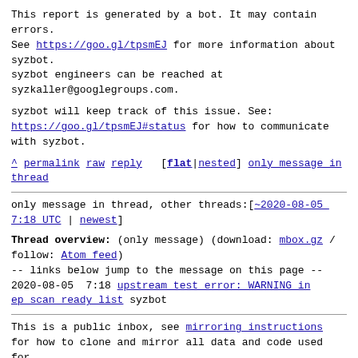This report is generated by a bot. It may contain errors.
See https://goo.gl/tpsmEJ for more information about syzbot.
syzbot engineers can be reached at syzkaller@googlegroups.com.
syzbot will keep track of this issue. See:
https://goo.gl/tpsmEJ#status for how to communicate with syzbot.
^ permalink raw reply  [flat|nested] only message in thread
only message in thread, other threads:[~2020-08-05 7:18 UTC | newest]
Thread overview: (only message) (download: mbox.gz / follow: Atom feed)
-- links below jump to the message on this page --
2020-08-05  7:18 upstream test error: WARNING in ep_scan_ready_list syzbot
This is a public inbox, see mirroring instructions for how to clone and mirror all data and code used for this inbox;
as well as URLs for NNTP newsgroup(s).